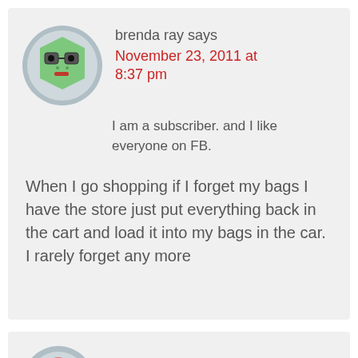brenda ray says
November 23, 2011 at 8:37 pm
I am a subscriber. and I like everyone on FB.
When I go shopping if I forget my bags I have the store just put everything back in the cart and load it into my bags in the car. I rarely forget any more
[Figure (illustration): Avatar icon of a cartoon frog wearing glasses, green hexagon shape, set in a circular frame with light blue-grey background]
Sandra says
[Figure (illustration): Partial avatar icon, circular frame, partially visible at bottom of page]